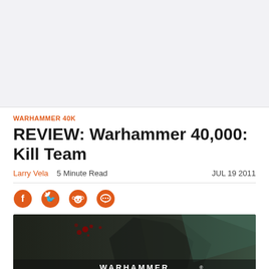[Figure (other): Advertisement placeholder area, light gray background]
WARHAMMER 40K
REVIEW: Warhammer 40,000: Kill Team
Larry Vela   5 Minute Read   JUL 19 2011
[Figure (other): Social sharing icons: Facebook, Twitter, Reddit, Comments]
[Figure (photo): Hero image showing Warhammer game art with dark background, red blood splatter, and WARHAMMER text at bottom]